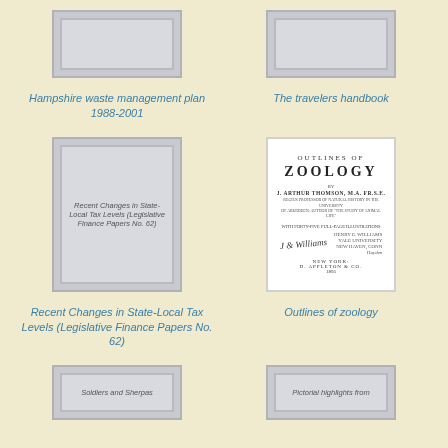[Figure (illustration): Book cover thumbnail - Hampshire waste management plan 1988-2001 (gray placeholder)]
Hampshire waste management plan 1988-2001
[Figure (illustration): Book cover thumbnail - The travelers handbook (gray placeholder)]
The travelers handbook
[Figure (illustration): Book cover - Recent Changes in State-Local Tax Levels (Legislative Finance Papers No. 62) with text visible on gray cover]
Recent Changes in State-Local Tax Levels (Legislative Finance Papers No. 62)
[Figure (illustration): Book cover - Outlines of Zoology, white cover with title page text, J. Arthur Thomson, D. Appleton & Co., New York]
Outlines of zoology
[Figure (illustration): Book cover thumbnail - Soldiers and Sherpas (gray placeholder with text)]
[Figure (illustration): Book cover thumbnail - Pictorial highlights from (gray placeholder with text)]